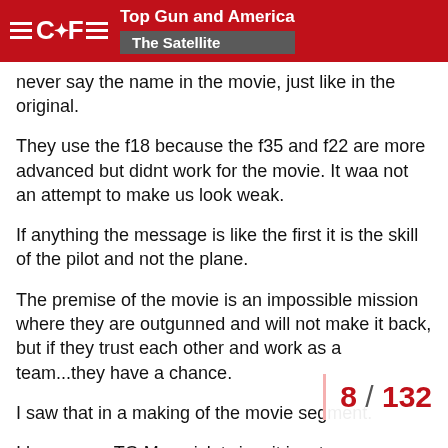Top Gun and America / The Satellite
never say the name in the movie, just like in the original.
They use the f18 because the f35 and f22 are more advanced but didnt work for the movie. It waa not an attempt to make us look weak.
If anything the message is like the first it is the skill of the pilot and not the plane.
The premise of the movie is an impossible mission where they are outgunned and will not make it back, but if they trust each other and work as a team...they have a chance.
I saw that in a making of the movie segment.
I have seen TG Maverick twice, it is a true pop corn summer tent pole film, a true summe
The plot is thin but...
8 / 132